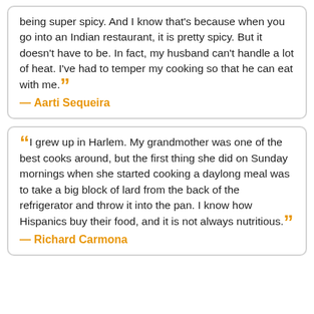being super spicy. And I know that's because when you go into an Indian restaurant, it is pretty spicy. But it doesn't have to be. In fact, my husband can't handle a lot of heat. I've had to temper my cooking so that he can eat with me. — Aarti Sequeira
I grew up in Harlem. My grandmother was one of the best cooks around, but the first thing she did on Sunday mornings when she started cooking a daylong meal was to take a big block of lard from the back of the refrigerator and throw it into the pan. I know how Hispanics buy their food, and it is not always nutritious. — Richard Carmona